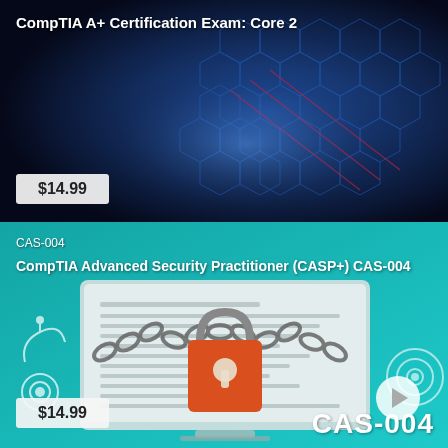[Figure (screenshot): CompTIA A+ Certification Exam: Core 2 course card with dark blue hexagonal tech background and $14.99 price badge]
[Figure (screenshot): CompTIA Advanced Security Practitioner (CASP+) CAS-004 course card with teal background, padlock with chain illustration, and $14.99 price badge]